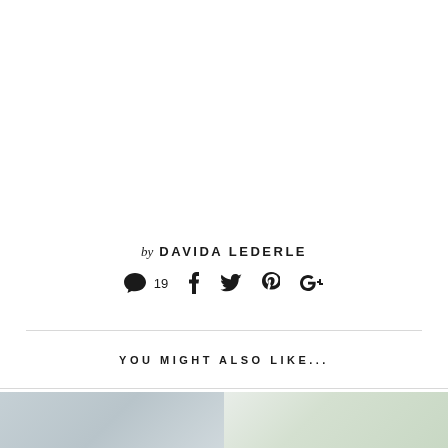by DAVIDA LEDERLE
[Figure (infographic): Social share icons row: comment bubble with count 19, Facebook icon, Twitter icon, Pinterest icon, Google+ icon]
YOU MIGHT ALSO LIKE...
[Figure (photo): Two partial photos at the bottom of the page, left one is gray/blue toned, right one shows greenish element]